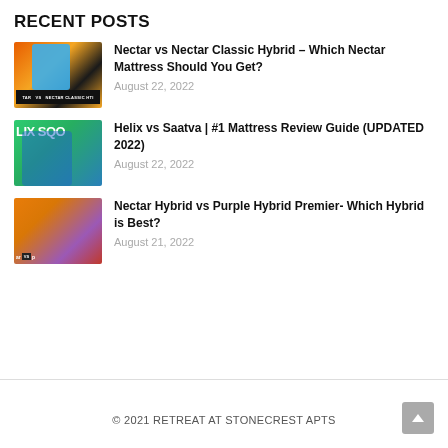RECENT POSTS
[Figure (photo): Thumbnail for Nectar vs Nectar Classic Hybrid post - man in teal shirt with mattress imagery]
Nectar vs Nectar Classic Hybrid – Which Nectar Mattress Should You Get?
August 22, 2022
[Figure (photo): Thumbnail for Helix vs Saatva post - man pointing with green and blue background, text LIX SOO]
Helix vs Saatva | #1 Mattress Review Guide (UPDATED 2022)
August 22, 2022
[Figure (photo): Thumbnail for Nectar Hybrid vs Purple Hybrid Premier post - woman thinking with orange/purple background]
Nectar Hybrid vs Purple Hybrid Premier- Which Hybrid is Best?
August 21, 2022
© 2021 RETREAT AT STONECREST APTS